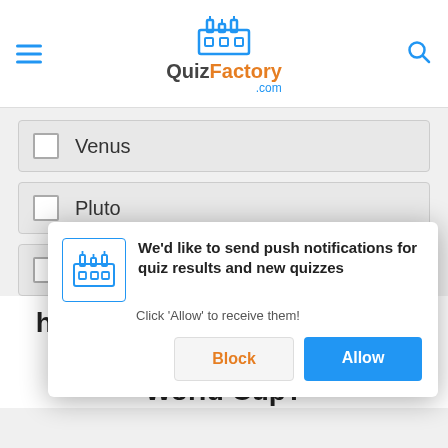QuizFactory.com
Venus
Pluto
Uranus
[Figure (screenshot): Push notification dialog: 'We'd like to send push notifications for quiz results and new quizzes. Click Allow to receive them!' with Block and Allow buttons]
head-butted his opponent in 2006, costing his team the World Cup?